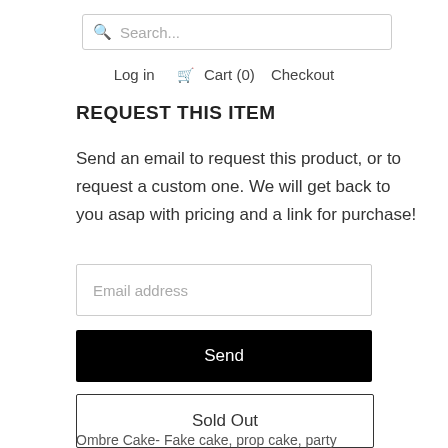Search...
Log in  Cart (0)  Checkout
REQUEST THIS ITEM
Send an email to request this product, or to request a custom one. We will get back to you asap with pricing and a link for purchase!
Email address
Send
Sold Out
Ombre Cake- Fake cake, prop cake, party